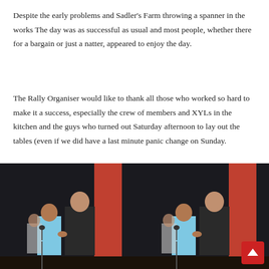Despite the early problems and Sadler's Farm throwing a spanner in the works The day was as successful as usual and most people, whether there for a bargain or just a natter, appeared to enjoy the day.
The Rally Organiser would like to thank all those who worked so hard to make it a success, especially the crew of members and XYLs in the kitchen and the guys who turned out Saturday afternoon to lay out the tables (even if we did have a last minute panic change on Sunday.
[Figure (photo): Two people shaking hands on a stage with dark curtain backdrop and red/orange wall. A third person stands in background. The person on left wears a light blue t-shirt, the person on right wears a dark jacket.]
[Figure (photo): Similar scene to the left photo: two people shaking hands on a stage with dark curtain and red/orange backdrop. Third person in background. Left person in light blue shirt, right person in dark jacket.]